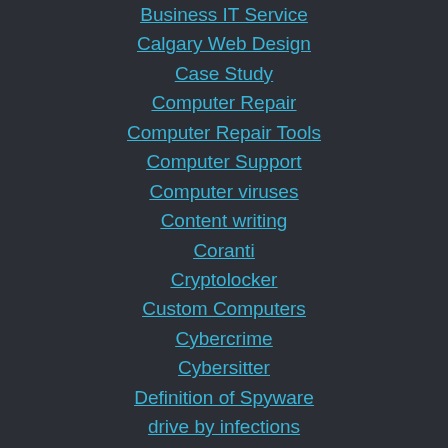Business IT Service
Calgary Web Design
Case Study
Computer Repair
Computer Repair Tools
Computer Support
Computer viruses
Content writing
Coranti
Cryptolocker
Custom Computers
Cybercrime
Cybersitter
Definition of Spyware
drive by infections
Driving School – Calgary
Ducktoes Computer Repair News
Ducktoes Computer Services